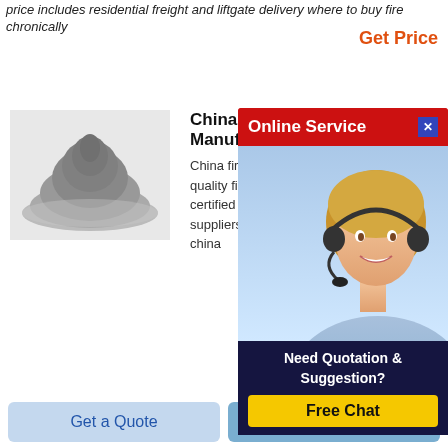price includes residential freight and liftgate delivery where to buy fire chronology
Get Price
[Figure (photo): Gray powdery material pile, product thumbnail]
China Fire Brick Manufacturer
China fire brick manufacturer quality fire brick products certified chinese fire suppliers wholesale china
[Figure (photo): Online Service popup with female customer service agent wearing headset, red banner header, and Need Quotation & Suggestion section with Free Chat button]
[Figure (photo): Red brick product image with Rongsheng logo]
Rekindle Shabbat
Oct 07 2021  rekindle
to jewish and interfaith families with children teens and younger who live in or are affiliated with a jewish organization in lappin foundation s merrimack valley or north shore service areas
Get a Quote
Chat Now